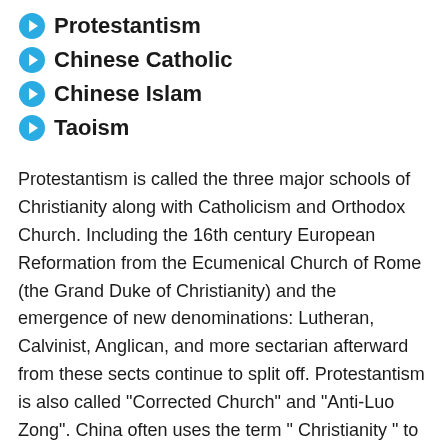Protestantism
Chinese Catholic
Chinese Islam
Taoism
Protestantism is called the three major schools of Christianity along with Catholicism and Orthodox Church. Including the 16th century European Reformation from the Ecumenical Church of Rome (the Grand Duke of Christianity) and the emergence of new denominations: Lutheran, Calvinist, Anglican, and more sectarian afterward from these sects continue to split off. Protestantism is also called "Corrected Church" and "Anti-Luo Zong". China often uses the term " Christianity " to refer solely to Protestantism. The folks often call it